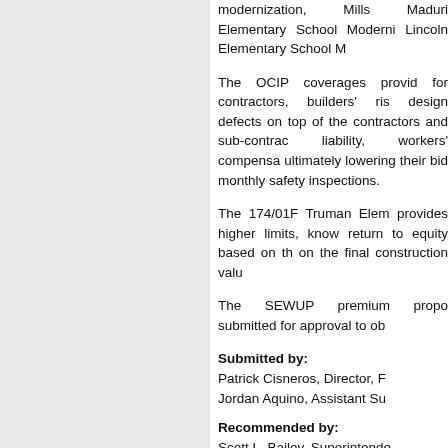modernization, Mills Maduri Elementary School Modernization, Lincoln Elementary School M...
The OCIP coverages provided for contractors, builders' risk, design defects on top of the contractors and sub-contractors liability, workers' compensation, ultimately lowering their bids, monthly safety inspections.
The 174/01F Truman Elementary provides higher limits, known return to equity based on the on the final construction value.
The SEWUP premium proposal submitted for approval to obtain...
Submitted by:
Patrick Cisneros, Director, F...
Jordan Aquino, Assistant Su...
Recommended by:
Scott L. Bailey, Superintendent...
Recommended Motion: